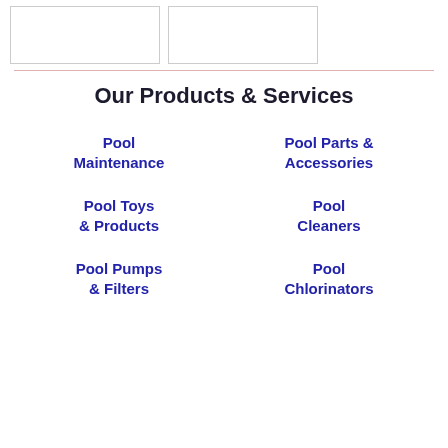[Figure (other): Two rectangular placeholder image boxes at the top of the page]
Our Products & Services
Pool Maintenance
Pool Parts & Accessories
Pool Toys & Products
Pool Cleaners
Pool Pumps & Filters
Pool Chlorinators